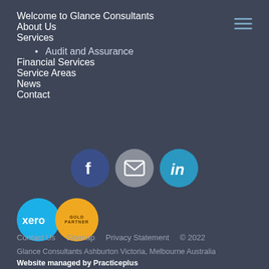Welcome to Glance Consultants
About Us
Services
Audit and Assurance
Financial Services
Service Areas
News
Contact
[Figure (infographic): Social media icons: Facebook (blue circle), Email/envelope (grey circle), LinkedIn (cyan circle)]
[Figure (logo): Xero logo (blue circle) and Gold Partner badge (gold circle)]
Contact Us   Sitemap   Privacy Statement   © 2022
Glance Consultants Ashburton Victoria, Melbourne Australia
Website managed by Practiceplus